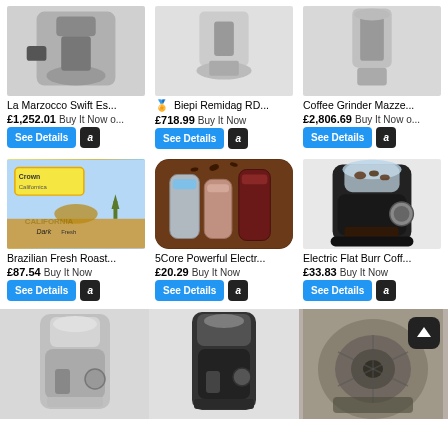[Figure (screenshot): Product grid showing coffee grinders and related products from an e-commerce site. Row 1: La Marzocco Swift Es... £1,252.01 Buy It Now o..., Biepi Remidag RD... £718.99 Buy It Now, Coffee Grinder Mazze... £2,806.69 Buy It Now o...; Row 2: Brazilian Fresh Roast... £87.54 Buy It Now, 5Core Powerful Electr... £20.29 Buy It Now, Electric Flat Burr Coff... £33.83 Buy It Now; Row 3 (partial): three coffee grinder images with no text visible]